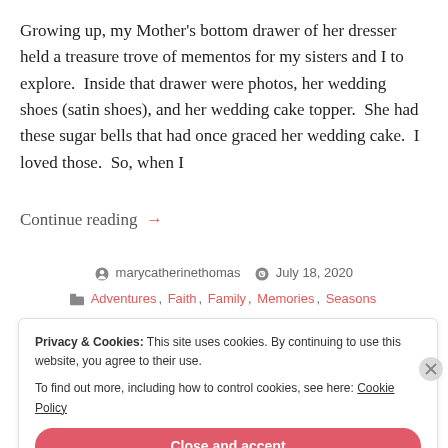Growing up, my Mother's bottom drawer of her dresser held a treasure trove of mementos for my sisters and I to explore.  Inside that drawer were photos, her wedding shoes (satin shoes), and her wedding cake topper.  She had these sugar bells that had once graced her wedding cake.  I loved those.  So, when I
Continue reading  →
marycatherinethomas   July 18, 2020
Adventures, Faith, Family, Memories, Seasons
Privacy & Cookies: This site uses cookies. By continuing to use this website, you agree to their use.
To find out more, including how to control cookies, see here: Cookie Policy
Close and accept